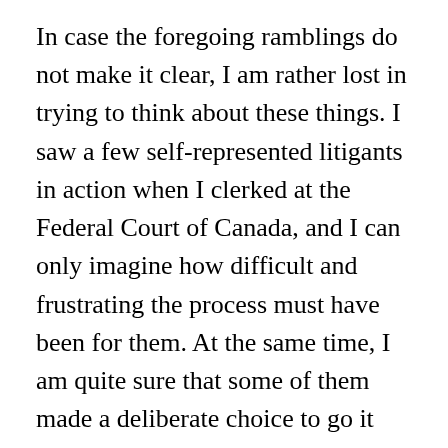In case the foregoing ramblings do not make it clear, I am rather lost in trying to think about these things. I saw a few self-represented litigants in action when I clerked at the Federal Court of Canada, and I can only imagine how difficult and frustrating the process must have been for them. At the same time, I am quite sure that some of them made a deliberate choice to go it alone, and have only themselves to blame for their frustrations. Some should not have been litigating at all (which is perhaps something a lawyer would have told them). A couple did a surprisingly good job. Some prevailed, even against the government, because their cases